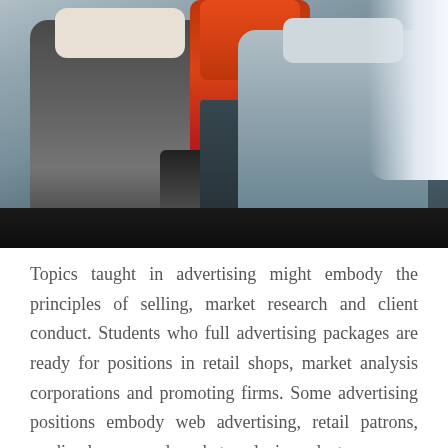[Figure (photo): Interior photograph of an aircraft business class cabin showing luxury seats in dark grey/charcoal and orange/red colors with a grey seat on the right side, armrests and console in between, and window light on the right.]
Topics taught in advertising might embody the principles of selling, market research and client conduct. Students who full advertising packages are ready for positions in retail shops, market analysis corporations and promoting firms. Some advertising positions embody web advertising, retail patrons, media planners and market analysis analysts.